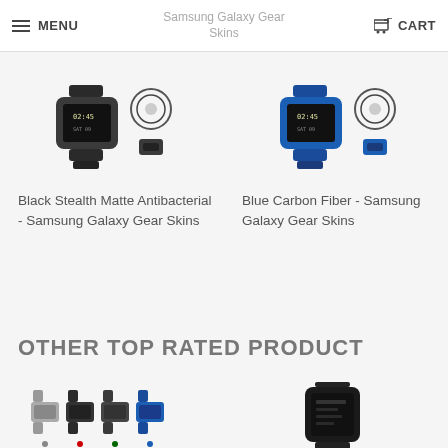MENU | Samsung Galaxy Gear Skins | CART
[Figure (photo): Black Stealth Matte smartwatch product image — smartwatch and band accessory in black/dark gray]
Black Stealth Matte Antibacterial - Samsung Galaxy Gear Skins
[Figure (photo): Blue Carbon Fiber smartwatch product image — smartwatch and band accessory in blue color]
Blue Carbon Fiber - Samsung Galaxy Gear Skins
OTHER TOP RATED PRODUCT
[Figure (photo): Multiple Samsung Galaxy Gear skins shown in various colors including gray, black, blue]
[Figure (photo): Dark Samsung Galaxy Gear smartwatch product image]